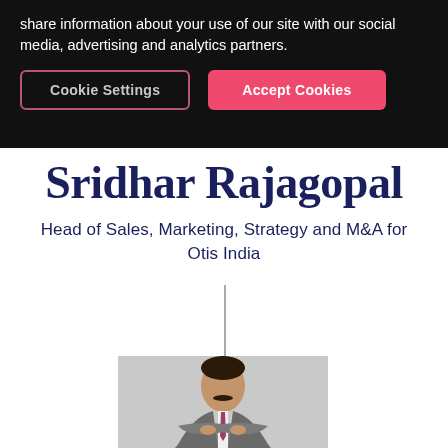share information about your use of our site with our social media, advertising and analytics partners.
Cookie Settings
Accept Cookies
Sridhar Rajagopal
Head of Sales, Marketing, Strategy and M&A for Otis India
[Figure (photo): Portrait photo of Sridhar Rajagopal in a grey suit with arms crossed, against a grey background]